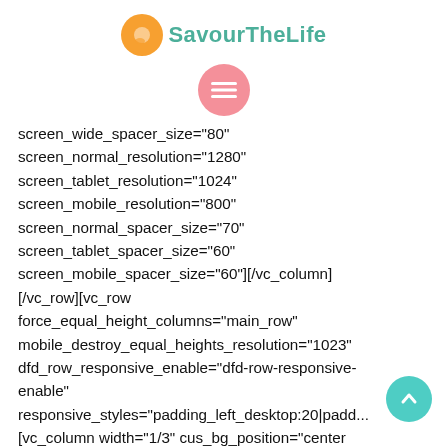SavourTheLife
[Figure (other): Pink circle hamburger menu button icon]
screen_wide_spacer_size="80"
screen_normal_resolution="1280"
screen_tablet_resolution="1024"
screen_mobile_resolution="800"
screen_normal_spacer_size="70"
screen_tablet_spacer_size="60"
screen_mobile_spacer_size="60"][/vc_column][/vc_row][vc_row
force_equal_height_columns="main_row"
mobile_destroy_equal_heights_resolution="1023"
dfd_row_responsive_enable="dfd-row-responsive-enable"
responsive_styles="padding_left_desktop:20|padd...
[vc_column width="1/3" cus_bg_position="center